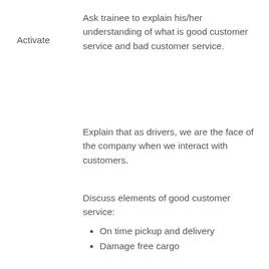Activate
Ask trainee to explain his/her understanding of what is good customer service and bad customer service.
Explain that as drivers, we are the face of the company when we interact with customers.
Discuss elements of good customer service:
On time pickup and delivery
Damage free cargo